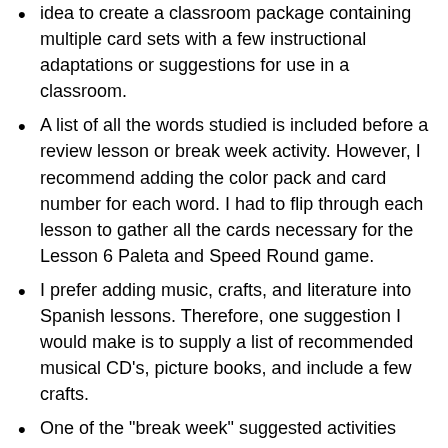idea to create a classroom package containing multiple card sets with a few instructional adaptations or suggestions for use in a classroom.
A list of all the words studied is included before a review lesson or break week activity. However, I recommend adding the color pack and card number for each word. I had to flip through each lesson to gather all the cards necessary for the Lesson 6 Paleta and Speed Round game.
I prefer adding music, crafts, and literature into Spanish lessons. Therefore, one suggestion I would make is to supply a list of recommended musical CD's, picture books, and include a few crafts.
One of the "break week" suggested activities directed the parent to highlight or mark the card borders based on the part of speech. I couldn't draw on my beautiful cards. I suggest color-coding the cards in this manner and possibly